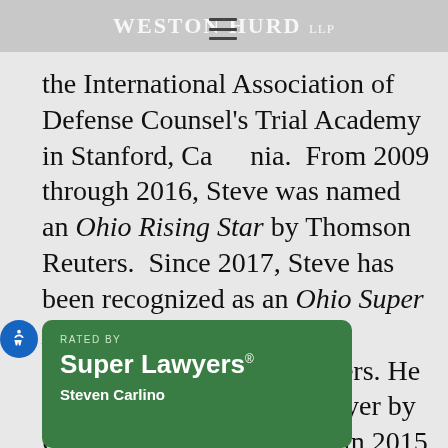Weston Hurd LLP
the International Association of Defense Counsel's Trial Academy in Stanford, California. From 2009 through 2016, Steve was named an Ohio Rising Star by Thomson Reuters. Since 2017, Steve has been recognized as an Ohio Super Lawyer in Civil Litigation-Defense by Thomson Reuters. He was also named a Top Lawyer by Columbus CEO Magazine in 2015 and 2016.
[Figure (logo): Super Lawyers badge — green rounded rectangle reading 'RATED BY / Super Lawyers® / Steven Carlino']